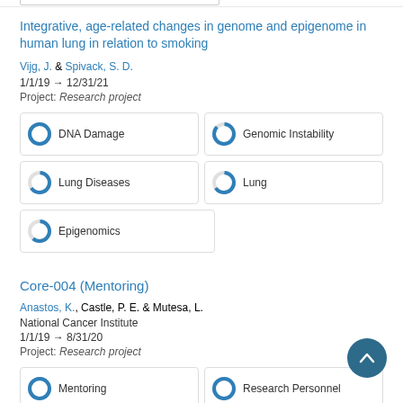Integrative, age-related changes in genome and epigenome in human lung in relation to smoking
Vijg, J. & Spivack, S. D.
1/1/19 → 12/31/21
Project: Research project
DNA Damage | Genomic Instability | Lung Diseases | Lung | Epigenomics
Core-004 (Mentoring)
Anastos, K., Castle, P. E. & Mutesa, L.
National Cancer Institute
1/1/19 → 8/31/20
Project: Research project
Mentoring | Research Personnel